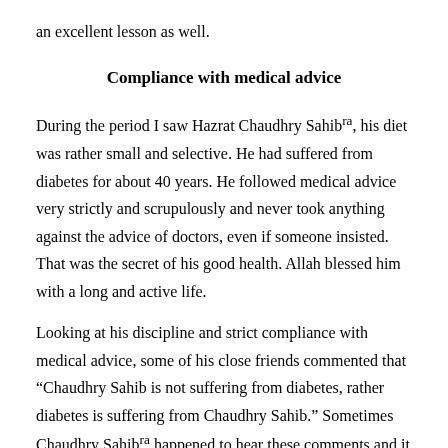an excellent lesson as well.
Compliance with medical advice
During the period I saw Hazrat Chaudhry Sahibra, his diet was rather small and selective. He had suffered from diabetes for about 40 years. He followed medical advice very strictly and scrupulously and never took anything against the advice of doctors, even if someone insisted. That was the secret of his good health. Allah blessed him with a long and active life.
Looking at his discipline and strict compliance with medical advice, some of his close friends commented that “Chaudhry Sahib is not suffering from diabetes, rather diabetes is suffering from Chaudhry Sahib.” Sometimes Chaudhry Sahibra happened to hear these comments and it led to a dignified smile on his face, but it did not affect his routine.